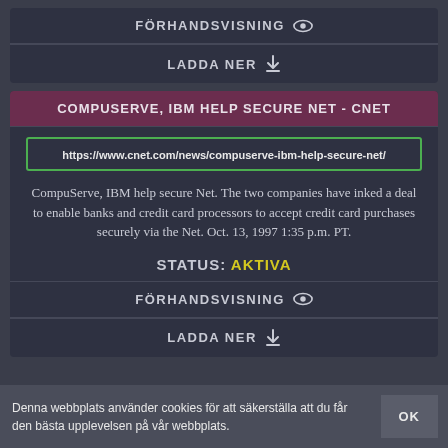FÖRHANDSVISNING
LADDA NER
COMPUSERVE, IBM HELP SECURE NET - CNET
https://www.cnet.com/news/compuserve-ibm-help-secure-net/
CompuServe, IBM help secure Net. The two companies have inked a deal to enable banks and credit card processors to accept credit card purchases securely via the Net. Oct. 13, 1997 1:35 p.m. PT.
STATUS: AKTIVA
FÖRHANDSVISNING
LADDA NER
Denna webbplats använder cookies för att säkerställa att du får den bästa upplevelsen på vår webbplats.
OK